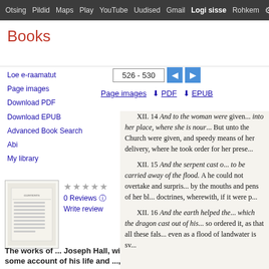Otsing Pildid Maps Play YouTube Uudised Gmail Logi sisse Rohkem
Books
526 - 530
Page images  PDF  EPUB
Loe e-raamatut
Page images
Download PDF
Download EPUB
Advanced Book Search
Abi
My library
[Figure (illustration): Thumbnail of book cover showing a table of contents page]
0 Reviews   Write review
The works of ... Joseph Hall, with some account of his life and ..., 4.
XII. 14 And to the woman were given... into her place, where she is nour... But unto the Church were given, and speedy means of her delivery, where he took order for her prese... XII. 15 And the serpent cast o... to be carried away of the flood. A he could not overtake and surpris... by the mouths and pens of her bl... doctrines, wherewith, if it were p... XII. 16 And the earth helped the... which the dragon cast out of his... so ordered it, as that all these fals... even as a flood of landwater is sv...